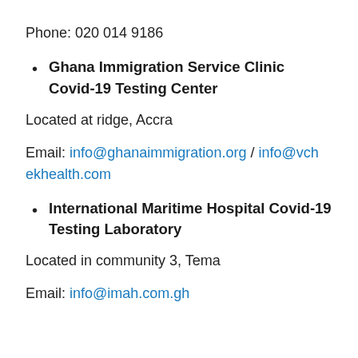Phone: 020 014 9186
Ghana Immigration Service Clinic Covid-19 Testing Center
Located at ridge, Accra
Email: info@ghanaimmigration.org / info@vchekhealth.com
International Maritime Hospital Covid-19 Testing Laboratory
Located in community 3, Tema
Email: info@imah.com.gh